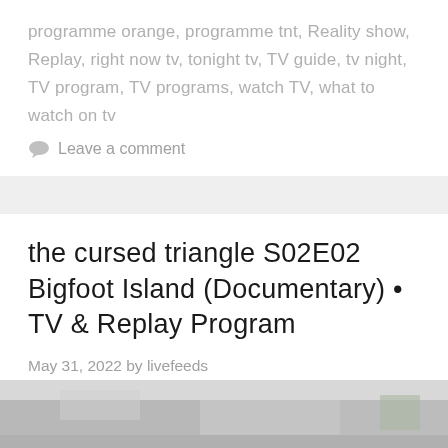programme orange, programme tnt, Reality show, Replay, right now tv, tonight tv, TV guide, tv night, TV program, TV programs, watch TV, what to watch on tv
Leave a comment
the cursed triangle S02E02 Bigfoot Island (Documentary) • TV & Replay Program
May 31, 2022 by livefeeds
[Figure (photo): Partial photograph visible at the bottom of the page, showing what appears to be an indoor scene.]